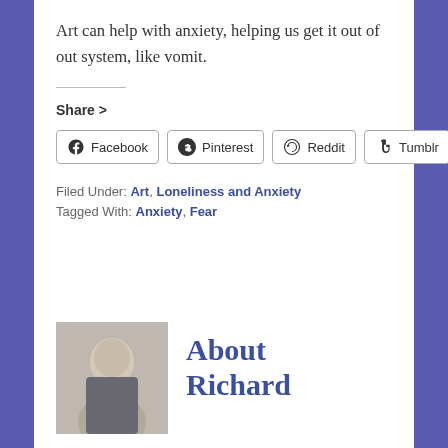Art can help with anxiety, helping us get it out of out system, like vomit.
Share >
[Figure (other): Social share buttons: Facebook, Pinterest, Reddit, Tumblr]
Filed Under: Art, Loneliness and Anxiety
Tagged With: Anxiety, Fear
[Figure (photo): Headshot photo of Richard]
About Richard